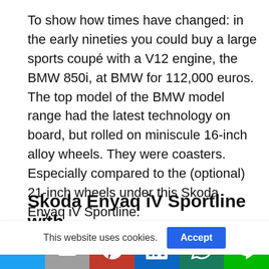To show how times have changed: in the early nineties you could buy a large sports coupé with a V12 engine, the BMW 850i, at BMW for 112,000 euros. The top model of the BMW model range had the latest technology on board, but rolled on miniscule 16-inch alloy wheels. They were coasters. Especially compared to the (optional) 21-inch wheels under this Skoda Enyaq iV Sportline.
Skoda Enyaq iV Sportline with
This website uses cookies.
[Figure (other): Social sharing bar with Twitter, Email, Pinterest, LinkedIn, WhatsApp, and LINE buttons]